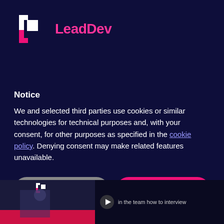[Figure (logo): LeadDev logo with white and pink geometric bracket icon and pink LeadDev text]
Notice
We and selected third parties use cookies or similar technologies for technical purposes and, with your consent, for other purposes as specified in the cookie policy. Denying consent may make related features unavailable.
Reject
Accept
Learn more and customize
[Figure (screenshot): Bottom preview showing a video thumbnail with LeadDev branding and text 'in the team how to interview']